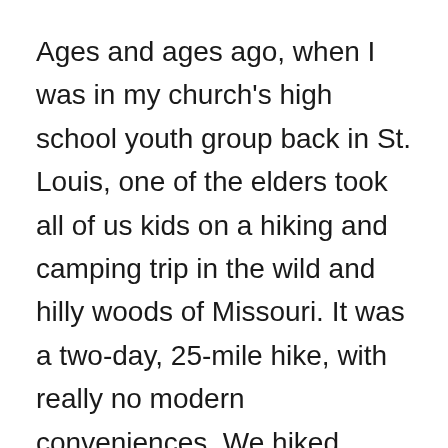Ages and ages ago, when I was in my church's high school youth group back in St. Louis, one of the elders took all of us kids on a hiking and camping trip in the wild and hilly woods of Missouri. It was a two-day, 25-mile hike, with really no modern conveniences. We hiked about 15 miles the first day and then we made a fire in a little cave on a hillside, and we dug sassafras roots to make tea, and found some wild watercress to eat with our dinner, and we all slept as close to the campfire as we could because it was frosty during the night.
But then, on the second day, my friend Becky and I got separated from the rest of the group, and we got hopelessly lost. We were slower than the guys in